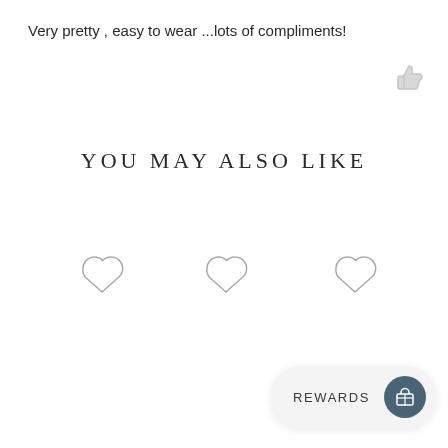Very pretty , easy to wear ...lots of compliments!
[Figure (illustration): Thumbs up icon (like button) in light gray]
YOU MAY ALSO LIKE
[Figure (illustration): Three heart (wishlist/favorite) icons in a row]
[Figure (illustration): Rewards button widget with gift card icon at bottom right]